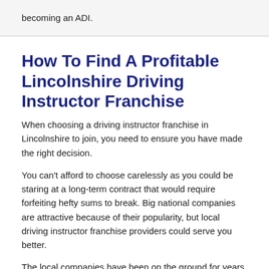becoming an ADI.
How To Find A Profitable Lincolnshire Driving Instructor Franchise
When choosing a driving instructor franchise in Lincolnshire to join, you need to ensure you have made the right decision.
You can't afford to choose carelessly as you could be staring at a long-term contract that would require forfeiting hefty sums to break. Big national companies are attractive because of their popularity, but local driving instructor franchise providers could serve you better.
The local companies have been on the ground for years and thus have local networks in place for a steady supply of pupils.